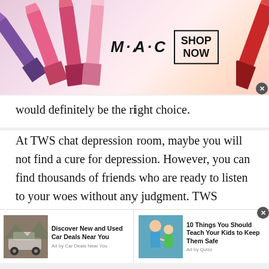[Figure (screenshot): MAC Cosmetics advertisement banner showing lipsticks on left and right, MAC logo in center, and SHOP NOW button in a rectangle]
would definitely be the right choice.
At TWS chat depression room, maybe you will not find a cure for depression. However, you can find thousands of friends who are ready to listen to your woes without any judgment. TWS assures to help depressed folks no matter whatever the circumstances. So, talk to strangers in Republic of Kosovo on TWS and get ultimate guidance or support within no time. TWS always takes care of
[Figure (screenshot): Bottom advertisement bar with two ads: 'Discover New and Used Car Deals Near You' by Car Deals Near You, and '10 Things You Should Teach Your Kids to Keep Them Safe' by Quizz]